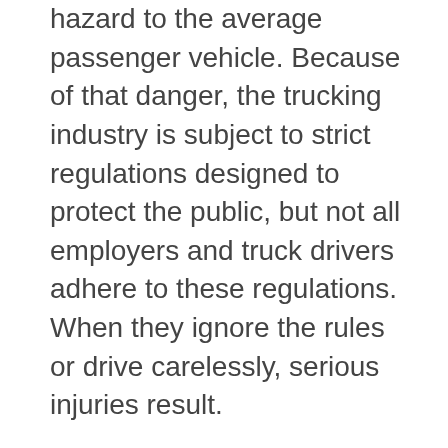hazard to the average passenger vehicle. Because of that danger, the trucking industry is subject to strict regulations designed to protect the public, but not all employers and truck drivers adhere to these regulations. When they ignore the rules or drive carelessly, serious injuries result.
Trucking firms and companies with commercial fleets have strong defense representation. You should have a skilled trial attorney on your side. At the Law Offices of Fred D. Crawford, IV, in Redondo Beach, we help injury victims recover compensation for injuries and losses from truck accidents throughout the South Bay